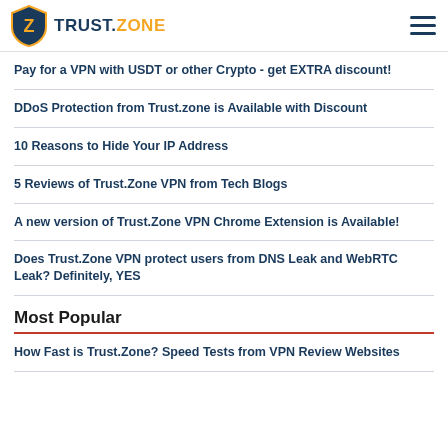TRUST.ZONE
Pay for a VPN with USDT or other Crypto - get EXTRA discount!
DDoS Protection from Trust.zone is Available with Discount
10 Reasons to Hide Your IP Address
5 Reviews of Trust.Zone VPN from Tech Blogs
A new version of Trust.Zone VPN Chrome Extension is Available!
Does Trust.Zone VPN protect users from DNS Leak and WebRTC Leak? Definitely, YES
Most Popular
How Fast is Trust.Zone? Speed Tests from VPN Review Websites